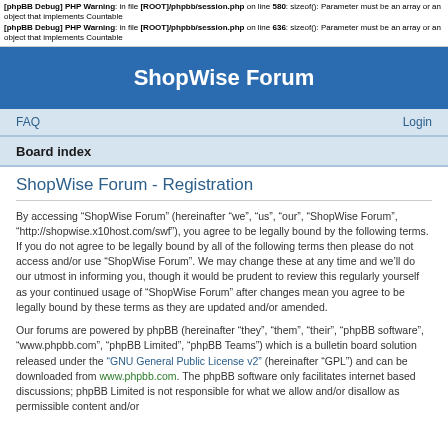[phpBB Debug] PHP Warning: in file [ROOT]/phpbb/session.php on line 580: sizeof(): Parameter must be an array or an object that implements Countable
[phpBB Debug] PHP Warning: in file [ROOT]/phpbb/session.php on line 636: sizeof(): Parameter must be an array or an object that implements Countable
ShopWise Forum
FAQ
Login
Board index
ShopWise Forum - Registration
By accessing “ShopWise Forum” (hereinafter “we”, “us”, “our”, “ShopWise Forum”, “http://shopwise.x10host.com/swf”), you agree to be legally bound by the following terms. If you do not agree to be legally bound by all of the following terms then please do not access and/or use “ShopWise Forum”. We may change these at any time and we’ll do our utmost in informing you, though it would be prudent to review this regularly yourself as your continued usage of “ShopWise Forum” after changes mean you agree to be legally bound by these terms as they are updated and/or amended.
Our forums are powered by phpBB (hereinafter “they”, “them”, “their”, “phpBB software”, “www.phpbb.com”, “phpBB Limited”, “phpBB Teams”) which is a bulletin board solution released under the “GNU General Public License v2” (hereinafter “GPL”) and can be downloaded from www.phpbb.com. The phpBB software only facilitates internet based discussions; phpBB Limited is not responsible for what we allow and/or disallow as permissible content and/or